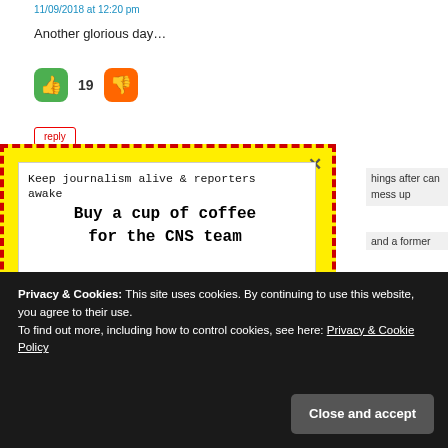11/09/2018 at 12:20 pm
Another glorious day…
[Figure (illustration): Green thumbs-up button, vote count 19, orange thumbs-down button]
reply
[Figure (infographic): Yellow dashed-border popup with white inner box containing: 'Keep journalism alive & reporters awake' tagline, 'Buy a cup of coffee for the CNS team' bold text, and a blue coffee cup illustration with steam]
hings after can mess up and a former
Privacy & Cookies: This site uses cookies. By continuing to use this website, you agree to their use.
To find out more, including how to control cookies, see here: Privacy & Cookie Policy
Close and accept